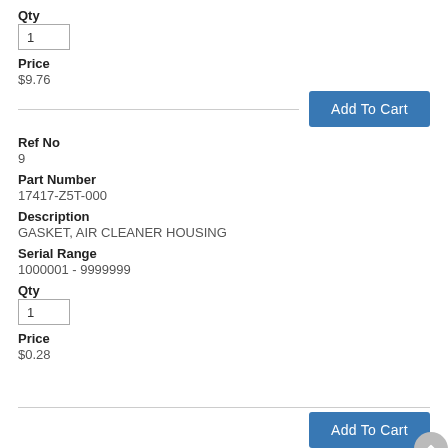Qty
1
Price
$9.76
Add To Cart
Ref No
9
Part Number
17417-Z5T-000
Description
GASKET, AIR CLEANER HOUSING
Serial Range
1000001 - 9999999
Qty
1
Price
$0.28
Add To Cart